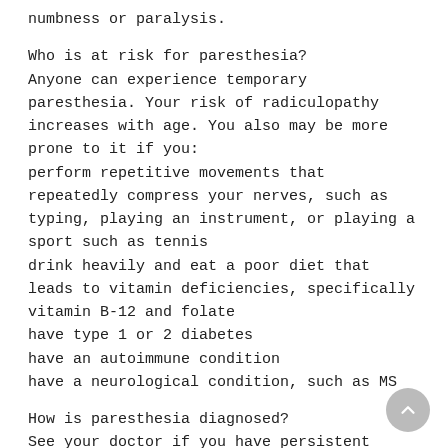numbness or paralysis.
Who is at risk for paresthesia?
Anyone can experience temporary paresthesia. Your risk of radiculopathy increases with age. You also may be more prone to it if you:
perform repetitive movements that repeatedly compress your nerves, such as typing, playing an instrument, or playing a sport such as tennis
drink heavily and eat a poor diet that leads to vitamin deficiencies, specifically vitamin B-12 and folate
have type 1 or 2 diabetes
have an autoimmune condition
have a neurological condition, such as MS
How is paresthesia diagnosed?
See your doctor if you have persistent paresthesia with no obvious cause.
Be prepared to give your medical history. Mention